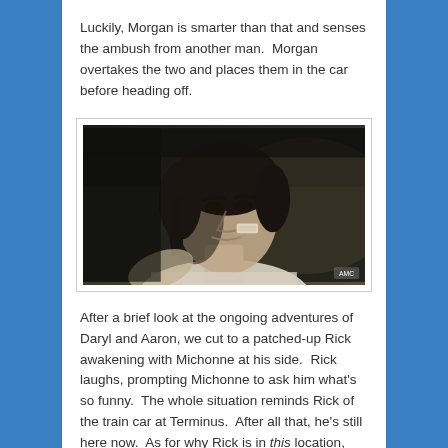Luckily, Morgan is smarter than that and senses the ambush from another man.  Morgan overtakes the two and places them in the car before heading off.
[Figure (photo): Dark cinematic still from what appears to be a TV show (AMC watermark visible), showing a man with dark hair and a bandage on his cheek, wearing a white shirt, looking to the side in a dimly lit scene.]
After a brief look at the ongoing adventures of Daryl and Aaron, we cut to a patched-up Rick awakening with Michonne at his side.  Rick laughs, prompting Michonne to ask him what's so funny.  The whole situation reminds Rick of the train car at Terminus.  After all that, he's still here now.  As for why Rick is in this location, Deanna